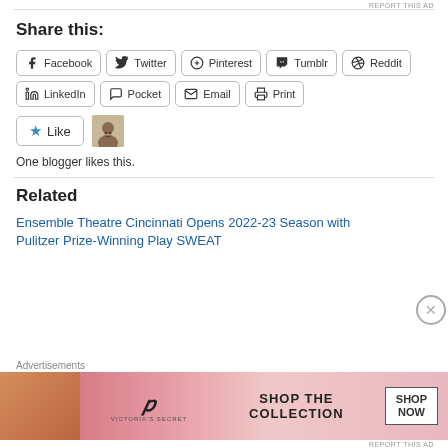REPORT THIS AD
Share this:
Facebook Twitter Pinterest Tumblr Reddit LinkedIn Pocket Email Print
One blogger likes this.
Related
Ensemble Theatre Cincinnati Opens 2022-23 Season with Pulitzer Prize-Winning Play SWEAT
[Figure (other): Victoria's Secret advertisement banner with model, VS logo, SHOP THE COLLECTION text, and SHOP NOW button]
Advertisements
REPORT THIS AD